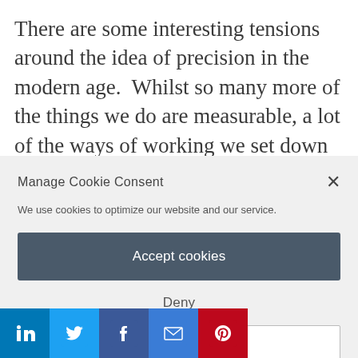There are some interesting tensions around the idea of precision in the modern age.  Whilst so many more of the things we do are measurable, a lot of the ways of working we set down for
Manage Cookie Consent
We use cookies to optimize our website and our service.
Accept cookies
Deny
View preferences
[Figure (other): Social sharing icons row: LinkedIn, Twitter, Facebook, Email, Pinterest]